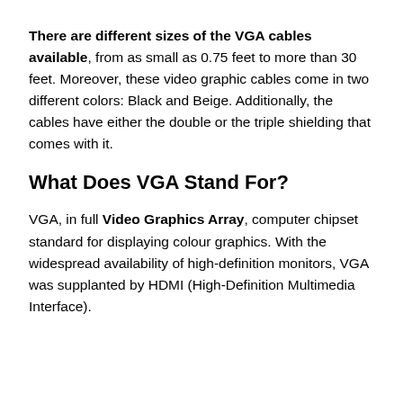There are different sizes of the VGA cables available, from as small as 0.75 feet to more than 30 feet. Moreover, these video graphic cables come in two different colors: Black and Beige. Additionally, the cables have either the double or the triple shielding that comes with it.
What Does VGA Stand For?
VGA, in full Video Graphics Array, computer chipset standard for displaying colour graphics. With the widespread availability of high-definition monitors, VGA was supplanted by HDMI (High-Definition Multimedia Interface).